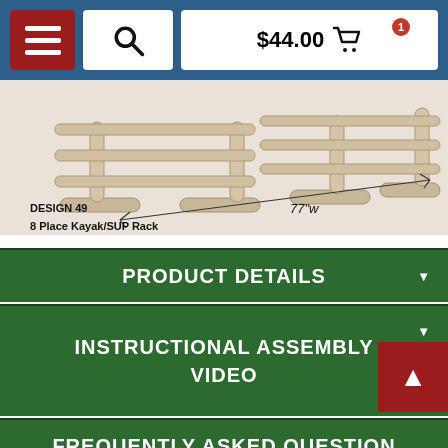$44.00 cart
[Figure (photo): A wooden 8-place kayak/SUP rack (Design 49) shown with a 77 inch width dimension annotation]
DESIGN 49
8 Place Kayak/SUP Rack
PRODUCT DETAILS
INSTRUCTIONAL ASSEMBLY VIDEO
FREQUENTLY ASKED QUESTIONS
SHIPPING INFORMATION